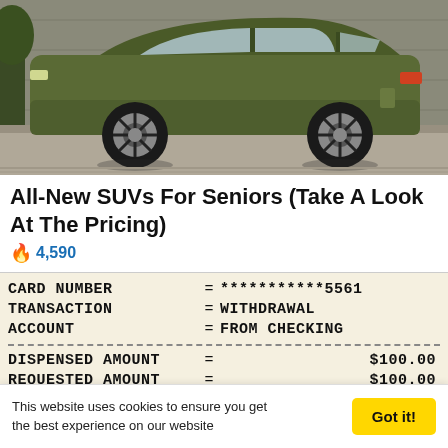[Figure (photo): Side profile photo of a large green/olive-colored SUV with chrome wheels against a modern architectural background]
All-New SUVs For Seniors (Take A Look At The Pricing)
🔥 4,590
[Figure (photo): ATM receipt showing: CARD NUMBER = ***********5561, TRANSACTION = WITHDRAWAL, ACCOUNT = FROM CHECKING, DISPENSED AMOUNT = $100.00, REQUESTED AMOUNT = $100.00]
This website uses cookies to ensure you get the best experience on our website